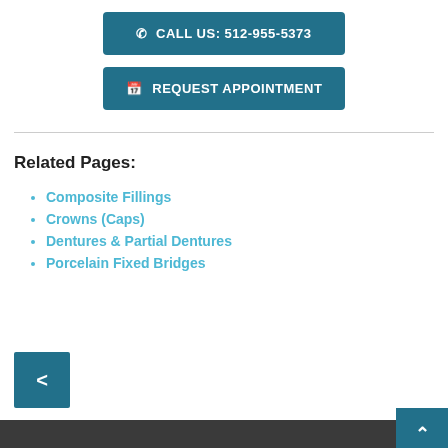CALL US: 512-955-5373
REQUEST APPOINTMENT
Related Pages:
Composite Fillings
Crowns (Caps)
Dentures & Partial Dentures
Porcelain Fixed Bridges